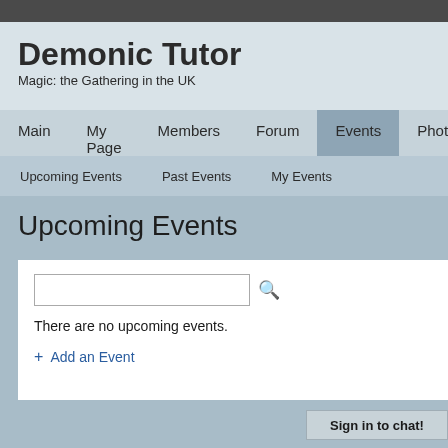Demonic Tutor — Magic: the Gathering in the UK
Demonic Tutor
Magic: the Gathering in the UK
Upcoming Events
There are no upcoming events.
+ Add an Event
Sign in to chat!